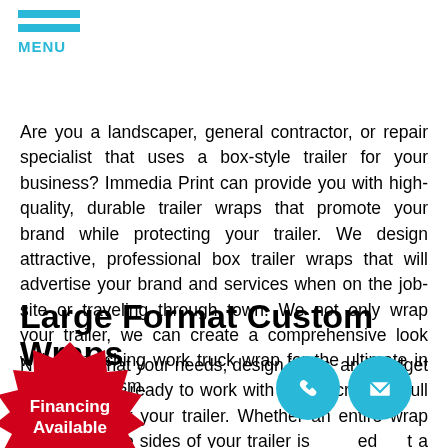MENU
Are you a landscaper, general contractor, or repair specialist that uses a box-style trailer for your business? Immedia Print can provide you with high-quality, durable trailer wraps that promote your brand while protecting your trailer. We design attractive, professional box trailer wraps that will advertise your brand and services when on the job-site or traveling through town. We not only wrap your trailer, we can create a comprehensive look with a matching work truck wrap for the ultimate in professionalism.
Large Format Custom Wraps
[Figure (illustration): Red starburst badge with white text reading 'Financing Available']
No matter what your needs, design ideas, and budget are, our team is ready to work with you to create a full custom wrap for your trailer. Whether an entire wrap to cover all visible sides of your trailer is needed or just a spot graphic for branding, we can create the perfect look
[Figure (illustration): Cyan circle with white phone icon]
[Figure (illustration): Cyan circle with white email envelope icon]